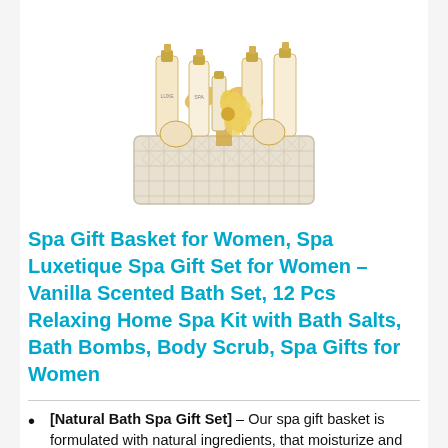[Figure (photo): Spa gift basket product photo showing various bath and body products in a decorative white patterned basket with gold ribbon, including bottles, bath bombs, and a decorative flower.]
Spa Gift Basket for Women, Spa Luxetique Spa Gift Set for Women – Vanilla Scented Bath Set, 12 Pcs Relaxing Home Spa Kit with Bath Salts, Bath Bombs, Body Scrub, Spa Gifts for Women
[Natural Bath Spa Gift Set] – Our spa gift basket is formulated with natural ingredients, that moisturize and refresh the body, and revitalize the mind and spirit. Nourishing ingredients such as Sunflower Seed Oil, Vitamin E and Vanilla Essential Oils that helps to nourish the skin and lock in moisture.
[Pampering 12pc Home Bath Set]- Bathing with a